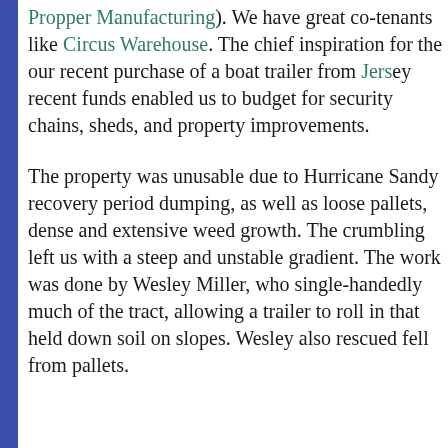Propper Manufacturing). We have great co-tenants like Circus Warehouse. The chief inspiration for the recent purchase of a boat trailer from Jersey; recent funds enabled us to budget for security chains, sheds, and property improvements.
The property was unusable due to Hurricane S recovery period dumping, as well as loose pallets, dense and extensive weed growth. The crumbling left us with a steep and unstable gradient. The work was done by Wesley Miller, who single-handedly much of the tract, allowing a trailer to roll in, that held down soil on slopes. Wesley also res fell from pallets.